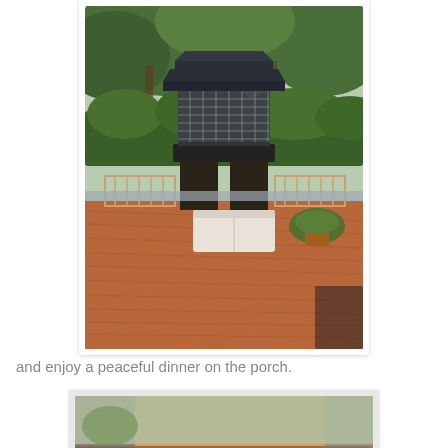[Figure (photo): Outdoor deck with a dark gazebo/grill station, railing, potted plants, and a white storage bench on a red-brown wooden deck surrounded by green trees and shrubs.]
and enjoy a peaceful dinner on the porch.
[Figure (photo): Outdoor porch dining table set with American flag decorations, red mugs, blue wine glasses, plates, and patriotic centerpiece on a wet wooden surface.]